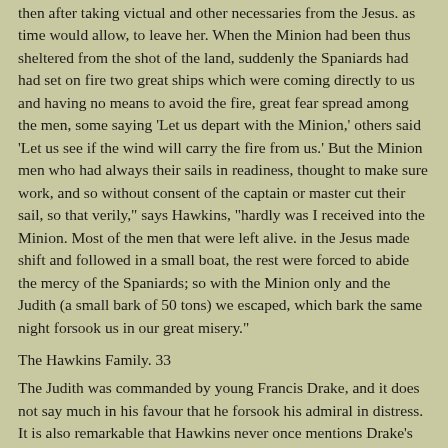then after taking victual and other necessaries from the Jesus. as time would allow, to leave her. When the Minion had been thus sheltered from the shot of the land, suddenly the Spaniards had had set on fire two great ships which were coming directly to us and having no means to avoid the fire, great fear spread among the men, some saying 'Let us depart with the Minion,' others said 'Let us see if the wind will carry the fire from us.' But the Minion men who had always their sails in readiness, thought to make sure work, and so without consent of the captain or master cut their sail, so that verily," says Hawkins, "hardly was I received into the Minion. Most of the men that were left alive. in the Jesus made shift and followed in a small boat, the rest were forced to abide the mercy of the Spaniards; so with the Minion only and the Judith (a small bark of 50 tons) we escaped, which bark the same night forsook us in our great misery."
The Hawkins Family. 33
The Judith was commanded by young Francis Drake, and it does not say much in his favour that he forsook his admiral in distress. It is also remarkable that Hawkins never once mentions Drake's name throughout the narrative; perhaps to shield his young kinsman from censure.
The Minion lay that night two bowshots from the Spanish ships, and next morning recovered an island a mile off; where she was